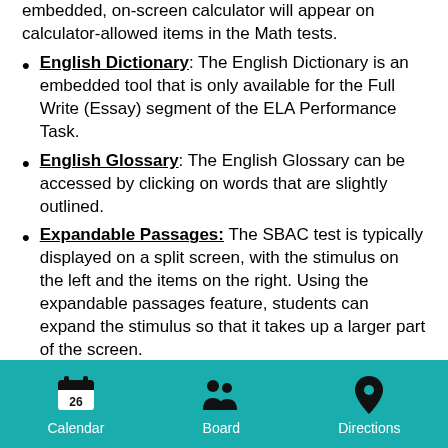embedded, on-screen calculator will appear on calculator-allowed items in the Math tests.
English Dictionary: The English Dictionary is an embedded tool that is only available for the Full Write (Essay) segment of the ELA Performance Task.
English Glossary: The English Glossary can be accessed by clicking on words that are slightly outlined.
Expandable Passages: The SBAC test is typically displayed on a split screen, with the stimulus on the left and the items on the right. Using the expandable passages feature, students can expand the stimulus so that it takes up a larger part of the screen.
Calendar   Board   Directions